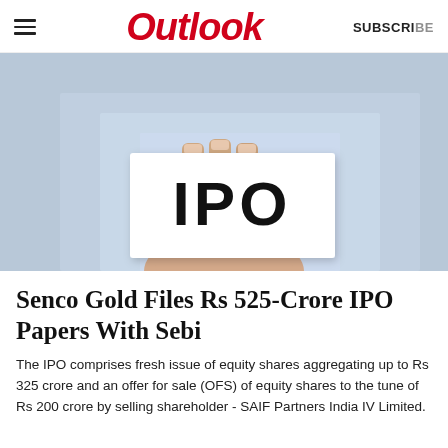Outlook
[Figure (photo): A person holding up a white card displaying the text 'IPO' in large bold black letters, with a blue shirt background and blurred surroundings.]
Senco Gold Files Rs 525-Crore IPO Papers With Sebi
The IPO comprises fresh issue of equity shares aggregating up to Rs 325 crore and an offer for sale (OFS) of equity shares to the tune of Rs 200 crore by selling shareholder - SAIF Partners India IV Limited.